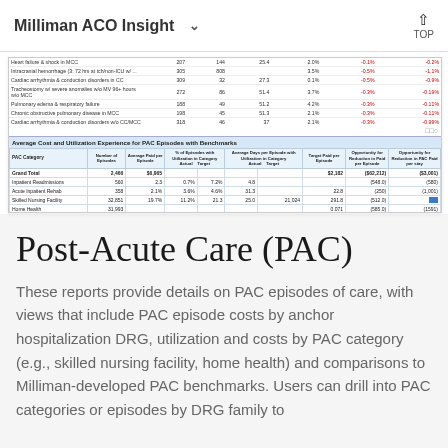Milliman ACO Insight  TOP
[Figure (screenshot): Screenshot of a Milliman ACO Insight report showing two tables: an upper table with rows of clinical condition data (ICD codes, episode counts, costs, benchmarks), and a lower table titled 'Average Cost and Utilization Experience for PAC Episodes with Benchmarks' with columns for PAC Category, Number of Episodes, Average Paid per Episode, % of Episodes with Utilization in Category (Actual/Target), Average Days per Episode with Utilization in Category (Actual/Target), Target Paid per Episode, Opportunity for Reduction in Paid per Episode, and Opportunity for Reduction in PAC Paid per stay. Rows include Grand Total, Inpatient Readmissions, Acute Inpatient Rehab, Skilled Nursing Facility, Home Health, Other.]
Post-Acute Care (PAC)
These reports provide details on PAC episodes of care, with views that include PAC episode costs by anchor hospitalization DRG, utilization and costs by PAC category (e.g., skilled nursing facility, home health) and comparisons to Milliman-developed PAC benchmarks. Users can drill into PAC categories or episodes by DRG family to